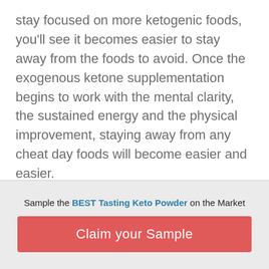stay focused on more ketogenic foods, you'll see it becomes easier to stay away from the foods to avoid. Once the exogenous ketone supplementation begins to work with the mental clarity, the sustained energy and the physical improvement, staying away from any cheat day foods will become easier and easier.
PROPER EXERCISE
Sample the BEST Tasting Keto Powder on the Market
Claim your Sample